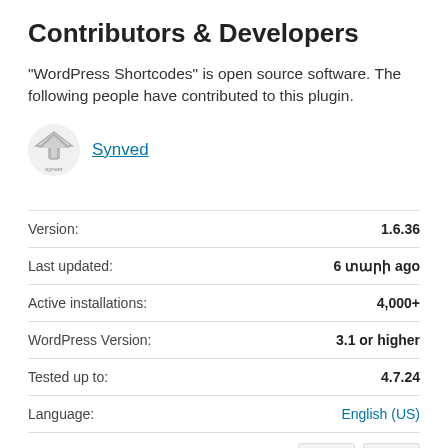Contributors & Developers
“WordPress Shortcodes” is open source software. The following people have contributed to this plugin.
[Figure (logo): Synved logo — a stylized arrow/boomerang shape with 'synver' text below]
Synved
| Label | Value |
| --- | --- |
| Version: | 1.6.36 |
| Last updated: | 6 տարի ago |
| Active installations: | 4,000+ |
| WordPress Version: | 3.1 or higher |
| Tested up to: | 4.7.24 |
| Language: | English (US) |
| Tags: | author button links post shortcode |